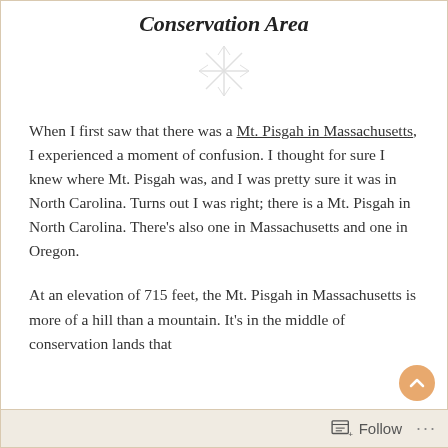Conservation Area
[Figure (illustration): Decorative snowflake/asterisk ornament divider]
When I first saw that there was a Mt. Pisgah in Massachusetts, I experienced a moment of confusion. I thought for sure I knew where Mt. Pisgah was, and I was pretty sure it was in North Carolina. Turns out I was right; there is a Mt. Pisgah in North Carolina. There's also one in Massachusetts and one in Oregon.
At an elevation of 715 feet, the Mt. Pisgah in Massachusetts is more of a hill than a mountain. It's in the middle of conservation lands that
Follow ...